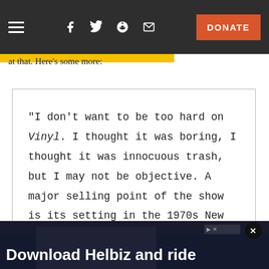≡  f  𝕏  👽  ✉  DONATE
at that.  Here's some more:
"I don't want to be too hard on Vinyl. I thought it was boring, I thought it was innocuous trash, but I may not be objective. A major selling point of the show is its setting in the 1970s New York music scene, wherein were born punk and hip-hop and much of disco.
[Figure (photo): Advertisement banner: Download Helbiz and ride]